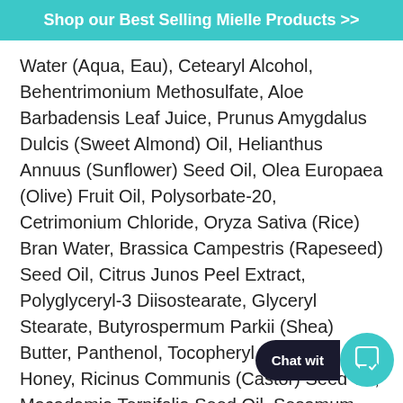Shop our Best Selling Mielle Products >>
Water (Aqua, Eau), Cetearyl Alcohol, Behentrimonium Methosulfate, Aloe Barbadensis Leaf Juice, Prunus Amygdalus Dulcis (Sweet Almond) Oil, Helianthus Annuus (Sunflower) Seed Oil, Olea Europaea (Olive) Fruit Oil, Polysorbate-20, Cetrimonium Chloride, Oryza Sativa (Rice) Bran Water, Brassica Campestris (Rapeseed) Seed Oil, Citrus Junos Peel Extract, Polyglyceryl-3 Diisostearate, Glyceryl Stearate, Butyrospermum Parkii (Shea) Butter, Panthenol, Tocopheryl Acetate, Honey, Ricinus Communis (Castor) Seed Oil, Macadamia Ternifolia Seed Oil, Sesamum Indicum (Sesame) Seed Oil, Simm... (Jojoba) Seed Oil, Chamomile Flo... Comfrey Leaves Extract, Horsetail Grass Extract,